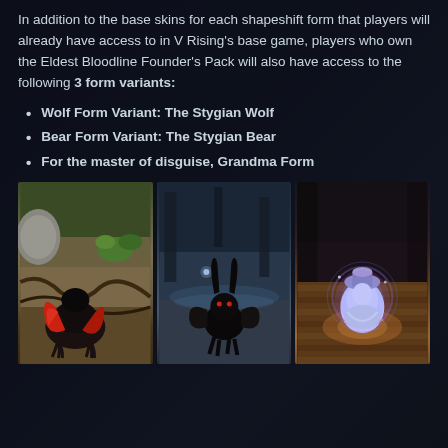In addition to the base skins for each shapeshift form that players will already have access to in V Rising's base game, players who own the Eldest Bloodline Founder's Pack will also have access to the following 3 form variants:
Wolf Form Variant: The Stygian Wolf
Bear Form Variant: The Stygian Bear
For the master of disguise, Grandma Form
[Figure (photo): Three game screenshots side by side showing shapeshifting forms: left - Stygian Wolf (dark red and black wolf on dirt ground in forest), center - Stygian Bear (dark black creature in blue-lit forest scene), right - Grandma Form (small glowing blue/white rounded figure on warm wooden floor)]